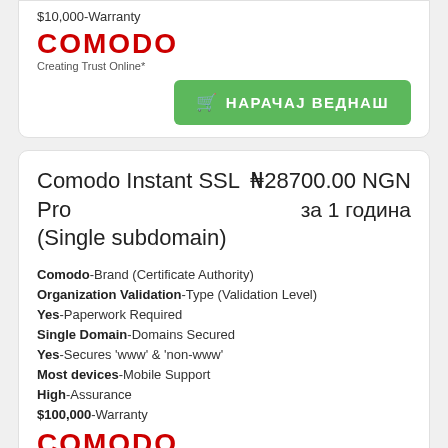$10,000-Warranty
[Figure (logo): Comodo logo in red uppercase letters with tagline 'Creating Trust Online*']
Creating Trust Online*
НАРАЧАЈ ВЕДНАШ
Comodo Instant SSL Pro (Single subdomain)
₦28700.00 NGN за 1 година
Comodo-Brand (Certificate Authority)
Organization Validation-Type (Validation Level)
Yes-Paperwork Required
Single Domain-Domains Secured
Yes-Secures 'www' & 'non-www'
Most devices-Mobile Support
High-Assurance
$100,000-Warranty
[Figure (logo): Comodo logo in red uppercase letters with tagline 'Creating Trust Online*']
Creating Trust Online*
Leave a message